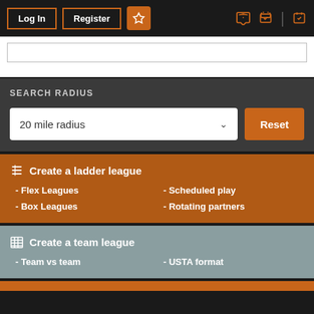Log In | Register | [star] | [megaphone] | [calendar]
SEARCH RADIUS
20 mile radius  Reset
☰ Create a ladder league - Flex Leagues - Box Leagues - Scheduled play - Rotating partners
⊞ Create a team league - Team vs team - USTA format